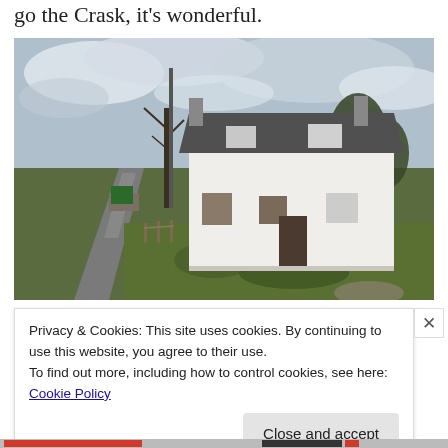go the Crask, it's wonderful.
[Figure (photo): A white two-storey Scottish farmhouse or inn beside a narrow country road, with bare trees and green grass in the foreground and a cloudy sky above. A signpost is visible to the left of the building.]
Privacy & Cookies: This site uses cookies. By continuing to use this website, you agree to their use.
To find out more, including how to control cookies, see here: Cookie Policy